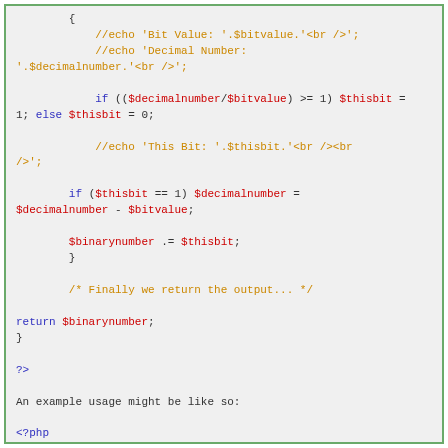[Figure (screenshot): PHP code snippet showing binary conversion function continuation, example usage with for loop, and Output label at bottom]